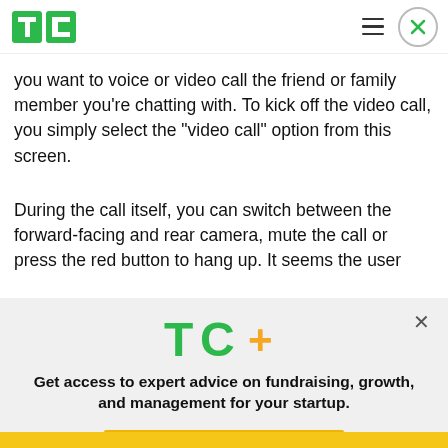TechCrunch header with logo, hamburger menu, and close button
you want to voice or video call the friend or family member you’re chatting with. To kick off the video call, you simply select the “video call” option from this screen.
During the call itself, you can switch between the forward-facing and rear camera, mute the call or press the red button to hang up. It seems the user
[Figure (logo): TC+ logo with green TC letters and orange plus sign]
Get access to expert advice on fundraising, growth, and management for your startup.
EXPLORE NOW